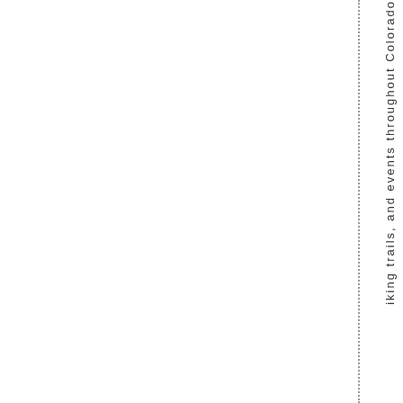iking trails, and events throughout Colorado